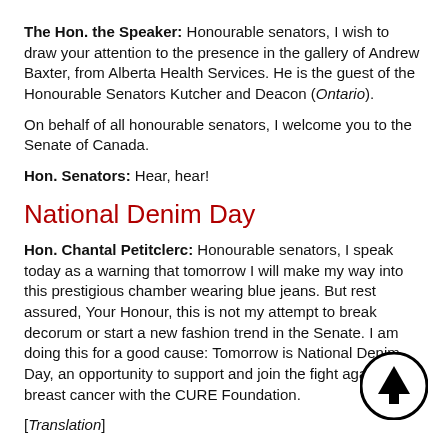The Hon. the Speaker: Honourable senators, I wish to draw your attention to the presence in the gallery of Andrew Baxter, from Alberta Health Services. He is the guest of the Honourable Senators Kutcher and Deacon (Ontario).
On behalf of all honourable senators, I welcome you to the Senate of Canada.
Hon. Senators: Hear, hear!
National Denim Day
Hon. Chantal Petitclerc: Honourable senators, I speak today as a warning that tomorrow I will make my way into this prestigious chamber wearing blue jeans. But rest assured, Your Honour, this is not my attempt to break decorum or start a new fashion trend in the Senate. I am doing this for a good cause: Tomorrow is National Denim Day, an opportunity to support and join the fight against breast cancer with the CURE Foundation.
[Translation]
The CURE Foundation has been fighting against breast cancer for over 20 years. In those 20 years, more than 400,000 people of all ages and from all walks of life have worn jeans or denim to work as a sign of support. Founded in 1996, the CURE Foundation has...